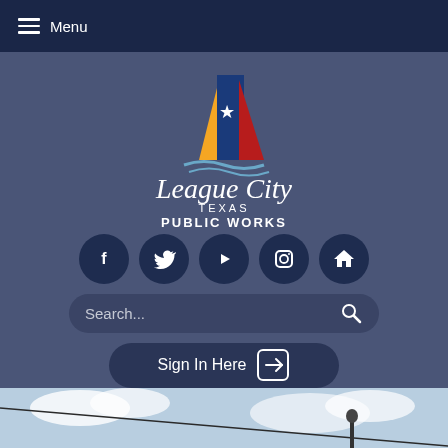Menu
[Figure (logo): League City Texas Public Works logo with sailboat/star design in blue, yellow, and red on dark blue background]
[Figure (infographic): Row of five dark circular social media icon buttons: Facebook (f), Twitter (bird), YouTube (play), Instagram (camera), Home]
[Figure (screenshot): Search input bar with placeholder text 'Search...' and magnifying glass icon]
[Figure (screenshot): Sign In Here button with arrow-into-box icon]
[Figure (photo): Partial photo of sky and utility lines/worker at bottom of page]